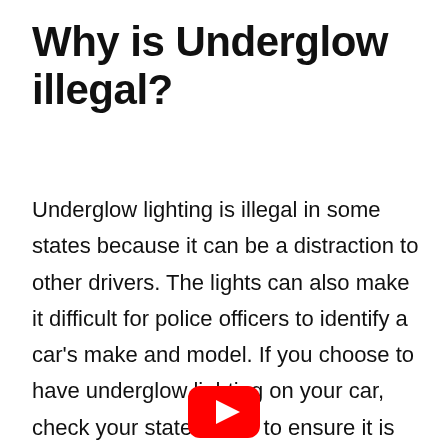Why is Underglow illegal?
Underglow lighting is illegal in some states because it can be a distraction to other drivers. The lights can also make it difficult for police officers to identify a car's make and model. If you choose to have underglow lighting on your car, check your state's laws to ensure it is legal.
[Figure (logo): YouTube logo icon — red rounded rectangle with white play triangle]